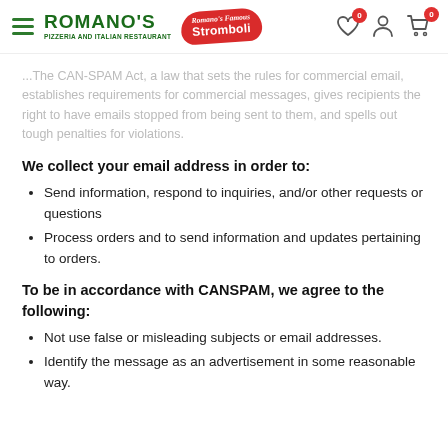Romano's Pizzeria and Italian Restaurant — Romano's Famous Stromboli
...The CAN-SPAM Act, a law that sets the rules for commercial email, establishes requirements for commercial messages, gives recipients the right to have emails stopped from being sent to them, and spells out tough penalties for violations.
We collect your email address in order to:
Send information, respond to inquiries, and/or other requests or questions
Process orders and to send information and updates pertaining to orders.
To be in accordance with CANSPAM, we agree to the following:
Not use false or misleading subjects or email addresses.
Identify the message as an advertisement in some reasonable way.